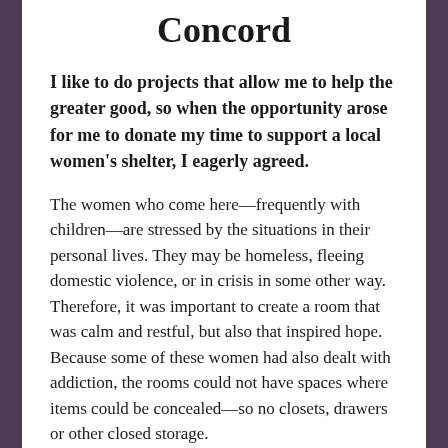Concord
I like to do projects that allow me to help the greater good, so when the opportunity arose for me to donate my time to support a local women's shelter, I eagerly agreed.
The women who come here—frequently with children—are stressed by the situations in their personal lives. They may be homeless, fleeing domestic violence, or in crisis in some other way. Therefore, it was important to create a room that was calm and restful, but also that inspired hope. Because some of these women had also dealt with addiction, the rooms could not have spaces where items could be concealed—so no closets, drawers or other closed storage.